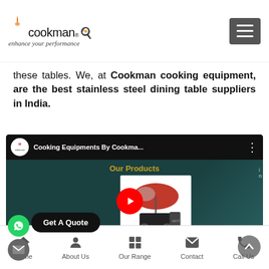cookman — enhance your performance
these tables. We, at Cookman cooking equipment, are the best stainless steel dining table suppliers in India.
[Figure (screenshot): YouTube video thumbnail showing 'Cooking Equipments By Cookma...' with IndiaMART logo, Our Products label in gold text, a food cart with umbrella image, and a red YouTube play button. Overlaid WhatsApp button, Get A Quote bar, email button, and scroll-to-top arrow button.]
Home | About Us | Our Range | Contact | Call Us